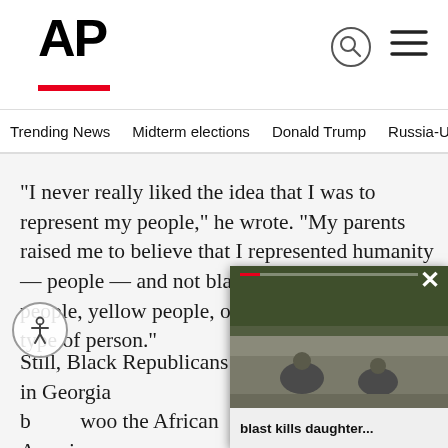AP
Trending News  Midterm elections  Donald Trump  Russia-Ukr
“I never really liked the idea that I was to represent my people,” he wrote. “My parents raised me to believe that I represented humanity — people — and not black people, white people, yellow people, or any other color or type of person.”
Still, Black Republicans in Georgia b… woo the African American t… heral election. They also beli… about overcoming obstacles to rea… college football and then the NFL … among Black voters
[Figure (photo): Soldiers on the ground in a street, appear to be examining or working on the road surface. Military personnel in green/grey uniforms.]
blast kills daughter...